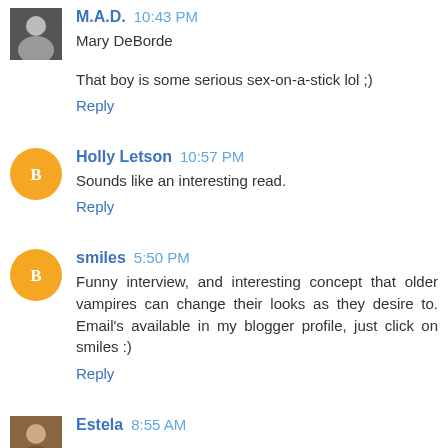M.A.D.  10:43 PM
Mary DeBorde
That boy is some serious sex-on-a-stick lol ;)
Reply
Holly Letson  10:57 PM
Sounds like an interesting read.
Reply
smiles  5:50 PM
Funny interview, and interesting concept that older vampires can change their looks as they desire to. Email's available in my blogger profile, just click on smiles :)
Reply
Estela  8:55 AM